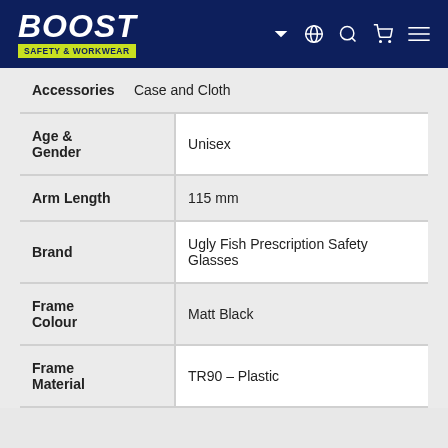BOOST SAFETY & WORKWEAR
| Attribute | Value |
| --- | --- |
| Accessories | Case and Cloth |
| Age & Gender | Unisex |
| Arm Length | 115 mm |
| Brand | Ugly Fish Prescription Safety Glasses |
| Frame Colour | Matt Black |
| Frame Material | TR90 – Plastic |